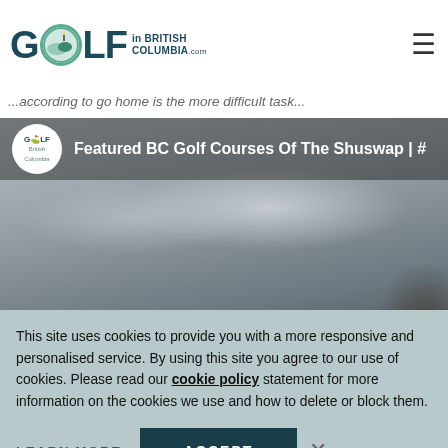Golf in British Columbia .com
...according to go home is the more difficult task...
[Figure (screenshot): Video thumbnail showing Golf in British Columbia logo and title 'Featured BC Golf Courses Of The Shuswap | #' with a cloudy sky background]
This site uses cookies to provide you with a more responsive and personalised service. By using this site you agree to our use of cookies. Please read our cookie policy statement for more information on the cookies we use and how to delete or block them.
LEARN MORE   ACCEPT   ×